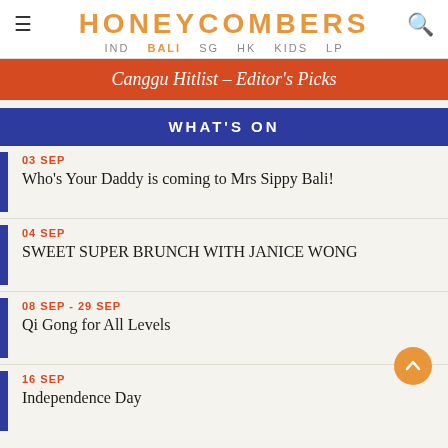HONEYCOMBERS — IND  BALI  SG  HK  KIDS  LP
Canggu Hitlist – Editor's Picks
WHAT'S ON
03 SEP — Who's Your Daddy is coming to Mrs Sippy Bali!
04 SEP — SWEET SUPER BRUNCH WITH JANICE WONG
08 SEP - 29 SEP — Qi Gong for All Levels
16 SEP — Independence Day